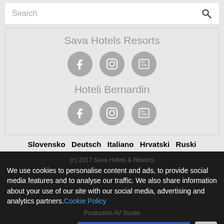[Figure (screenshot): Search bar with magnifying glass icon on white background]
Sava Hotels Resorts
[Figure (other): Social media icons: Facebook, Instagram, YouTube for Sava Hotels Resorts]
Hoteli Bernardin
[Figure (other): Social media icons: Facebook, Instagram, YouTube for Hoteli Bernardin]
Slovensko  Deutsch  Italiano  Hrvatski  Ruski
(c) 2017 Sava Hotels & Resorts
We use cookies to personalise content and ads, to provide social media features and to analyse our traffic. We also share information about your use of our site with our social media, advertising and analytics partners. Cookie Policy
Production AV Studio
Cookie Settings  ✓ Accept Cookies